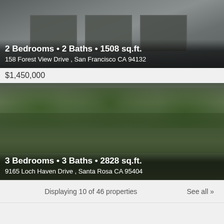[Figure (photo): Exterior photo of a townhouse/condo building with dark siding and attached garages, greenery visible]
2 Bedrooms • 2 Baths • 1508 sq.ft.
158 Forest View Drive , San Francisco CA 94132
$1,450,000
[Figure (photo): Aerial/exterior photo of a house surrounded by dense green trees and foliage]
3 Bedrooms • 3 Baths • 2828 sq.ft.
9165 Loch Haven Drive , Santa Rosa CA 95404
Displaying 10 of 46 properties
See all »
[Figure (logo): Homes & Co real estate logo — white text on black background showing stylized HOMES lettering]